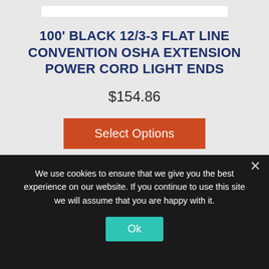100' BLACK 12/3-3 FLAT LINE CONVENTION OSHA EXTENSION POWER CORD LIGHT ENDS
$154.86
Select Options
[Figure (screenshot): Bottom section with gray background and tab elements (blue and dark gray)]
We use cookies to ensure that we give you the best experience on our website. If you continue to use this site we will assume that you are happy with it.
Ok